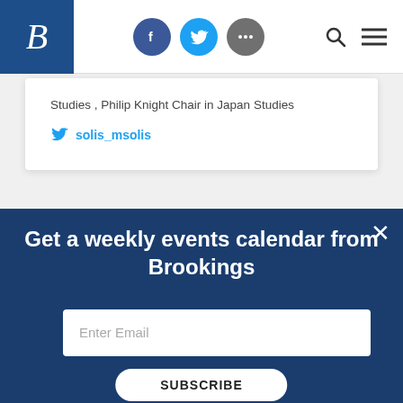Brookings Institution navigation bar with logo, social share icons (Facebook, Twitter, more), search and menu
Studies , Philip Knight Chair in Japan Studies
solis_msolis
Get a weekly events calendar from Brookings
Enter Email
SUBSCRIBE